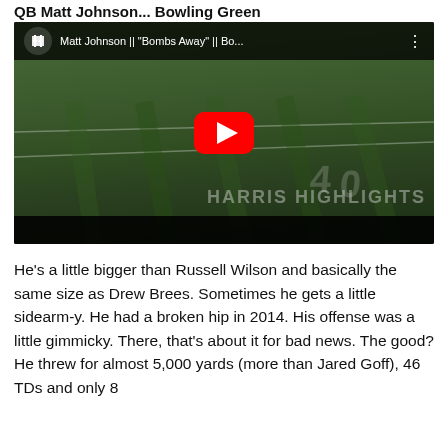QB Matt Johnson... Bowling Green
[Figure (screenshot): YouTube video thumbnail showing a football highlight from 'Harris Highlights' channel. The video title reads: Matt Johnson || "Bombs Away" || Bo... The thumbnail shows a football game scene on a green field with players in action, a red YouTube play button in the center, and a 'HARRIS HIGHLIGHTS' watermark at the bottom right.]
He's a little bigger than Russell Wilson and basically the same size as Drew Brees. Sometimes he gets a little sidearm-y. He had a broken hip in 2014. His offense was a little gimmicky. There, that's about it for bad news. The good? He threw for almost 5,000 yards (more than Jared Goff), 46 TDs and only 8